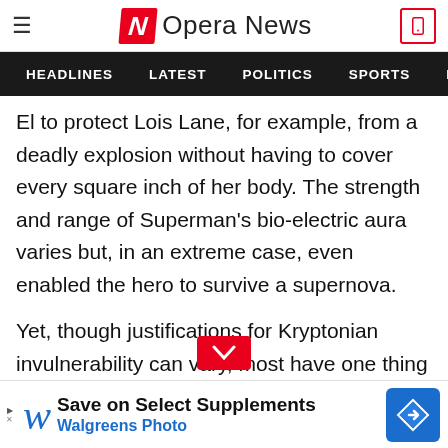Opera News
HEADLINES  LATEST  POLITICS  SPORTS
El to protect Lois Lane, for example, from a deadly explosion without having to cover every square inch of her body. The strength and range of Superman's bio-electric aura varies but, in an extreme case, even enabled the hero to survive a supernova.
Yet, though justifications for Kryptonian invulnerability can vary, most have one thing in common: solar energy. As previously detailed, Krypton's red sun caused the kryptonians to evolve und...amely harsh conditions, in